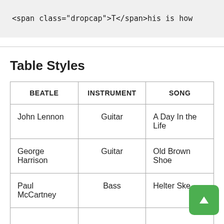[Figure (screenshot): Code snippet showing HTML: <span class="dropcap">T</span>his is how]
Table Styles
| BEATLE | INSTRUMENT | SONG |
| --- | --- | --- |
| John Lennon | Guitar | A Day In the Life |
| George Harrison | Guitar | Old Brown Shoe |
| Paul McCartney | Bass | Helter Ske... |
| ... |  | Back To... |